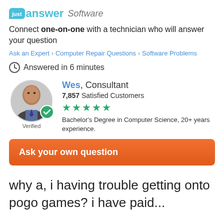[Figure (logo): JustAnswer Software logo with teal background badge and italic 'Software' text]
Connect one-on-one with a technician who will answer your question
Ask an Expert > Computer Repair Questions > Software Problems
Answered in 6 minutes
[Figure (photo): Expert profile photo of Wes, a male consultant in a suit, with a green verified checkmark badge. Name: Wes, Consultant. 7,857 Satisfied Customers. 5-star rating. Bachelor's Degree in Computer Science, 20+ years experience. Verified.]
Ask your own question
why a, i having trouble getting onto pogo games? i have paid...